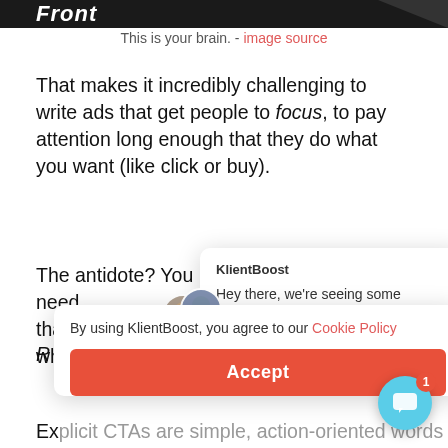[Figure (screenshot): Top dark banner with italic bold text 'Front' partially visible, and a dark diagonal shape on the right]
This is your brain. - image source
That makes it incredibly challenging to write ads that get people to focus, to pay attention long enough that they do what you want (like click or buy).
The antidote? You need [something] that tells them what [something] c[ontinued...]
[Figure (screenshot): KlientBoost chat popup with avatars saying 'Hey there, we're seeing some marketing...']
[Figure (screenshot): Cookie consent banner: 'By using KlientBoost, you agree to our Cookie Policy' with an Accept button]
R[ecommendation partially visible]
Ex[plicit CTAs are simple, action-oriented words - partially visible]